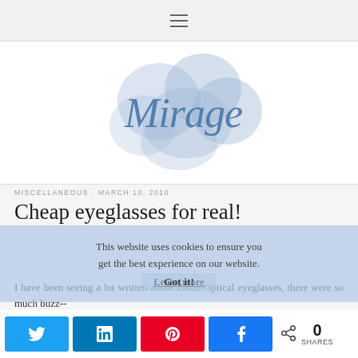≡ (hamburger menu)
[Figure (logo): Mirage blog logo — watercolor blue cloud/bubble shapes with cursive script text 'Mirage' in steel blue]
MISCELLANEOUS · MARCH 10, 2010
Cheap eyeglasses for real!
This website uses cookies to ensure you get the best experience on our website. Learn more  Got it!
I have been seeing a lot written about Zenni Optical eyeglasses, there were so much buzz--
Twitter share  LinkedIn share  Pinterest share  Facebook share  0 SHARES